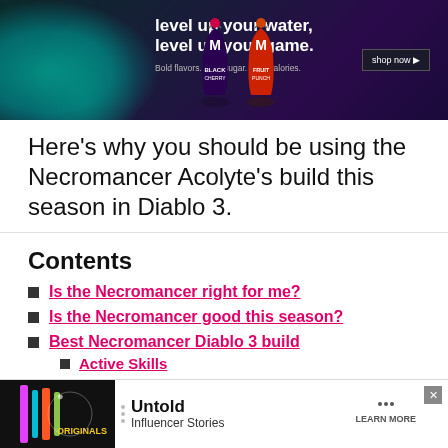[Figure (photo): Advertisement banner: 'level up your water, level up your game.' with product bottles on dark teal/purple background and shop now button]
Here's why you should be using the Necromancer Acolyte's build this season in Diablo 3.
Contents
Is the Necromancer right for me?
Is the Necromancer good this season?
Best Necromancer Diablo 3 build
Active Skills
Passive Skills
Item build
F... (partially obscured)
Alte... (partially obscured)
[Figure (photo): Bottom advertisement: Originals - Untold Influencer Stories with Learn More button]